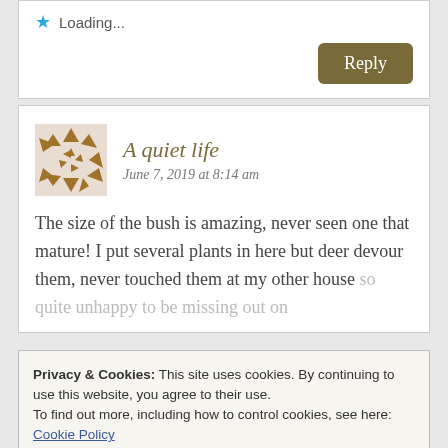Loading...
Reply
A quiet life
June 7, 2019 at 8:14 am
The size of the bush is amazing, never seen one that mature! I put several plants in here but deer devour them, never touched them at my other house so quite unhappy to be missing out on
Privacy & Cookies: This site uses cookies. By continuing to use this website, you agree to their use.
To find out more, including how to control cookies, see here:
Cookie Policy
Close and accept